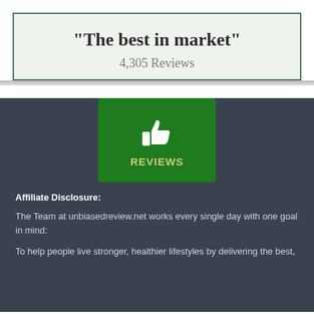"The best in market"
4,305 Reviews
[Figure (logo): Green rectangular badge with a white thumbs-up icon and the text REVIEWS in yellow-gold lettering]
Affiliate Disclosure:
The Team at unbiasedreview.net works every single day with one goal in mind:
To help people live stronger, healthier lifestyles by delivering the best,